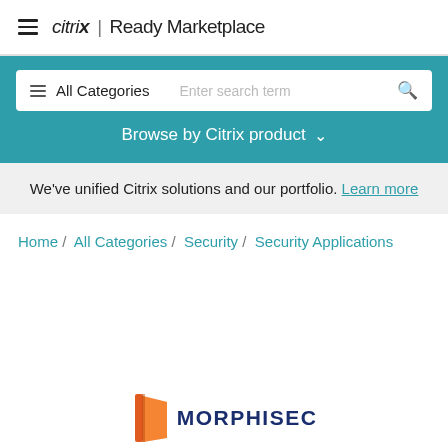citrix | Ready Marketplace
All Categories  Enter search term
Browse by Citrix product
We've unified Citrix solutions and our portfolio. Learn more
Home / All Categories / Security / Security Applications
[Figure (logo): Morphisec logo with orange book icon and dark blue MORPHISEC text]